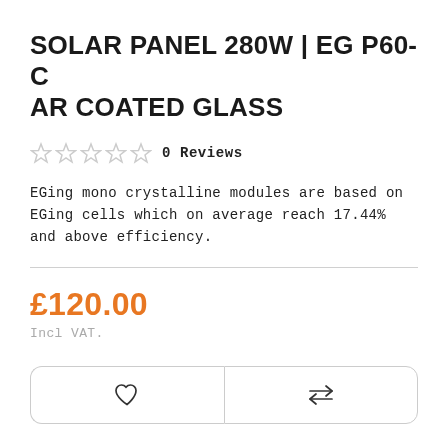SOLAR PANEL 280W | EG P60-C AR COATED GLASS
0 Reviews
EGing mono crystalline modules are based on EGing cells which on average reach 17.44% and above efficiency.
£120.00
Incl VAT.